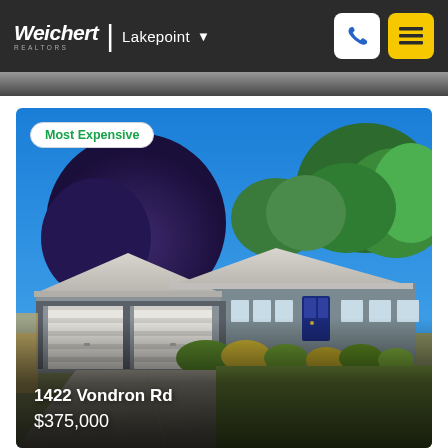Weichert REALTORS | Lakepoint
[Figure (photo): Exterior photograph of a ranch-style house at 1422 Vondron Rd with a two-car garage, blue sky, and trees in the background. A 'Most Expensive' badge is overlaid in the top-left corner.]
1422 Vondron Rd
$375,000